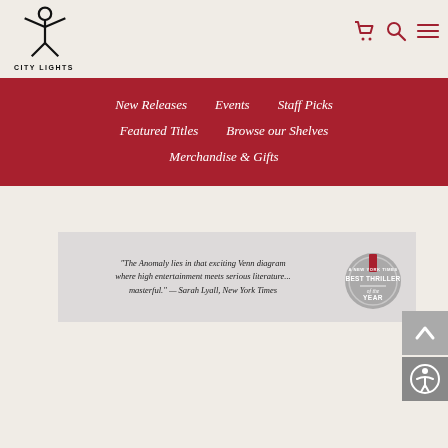[Figure (logo): City Lights bookstore logo: stick figure with arms raised, text CITY LIGHTS below]
[Figure (infographic): Header icons: shopping cart, search (magnifying glass), and hamburger menu in dark red]
New Releases
Events
Staff Picks
Featured Titles
Browse our Shelves
Merchandise & Gifts
[Figure (screenshot): Promotional banner with quote: 'The Anomaly lies in that exciting Venn diagram where high entertainment meets serious literature... masterful.' — Sarah Lyall, New York Times. Adjacent silver medal badge: A NEW YORK TIMES BEST THRILLER of the YEAR]
[Figure (infographic): Scroll-to-top arrow button and accessibility (person in circle) button on lower right]